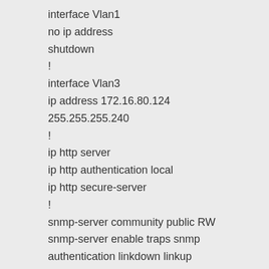interface Vlan1
no ip address
shutdown
!
interface Vlan3
ip address 172.16.80.124
255.255.255.240
!
ip http server
ip http authentication local
ip http secure-server
!
snmp-server community public RW
snmp-server enable traps snmp
authentication linkdown linkup
coldstart warmstart